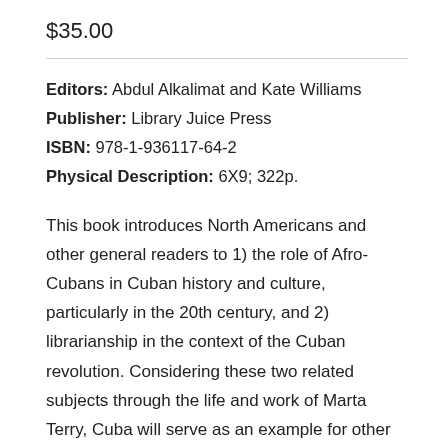$35.00
Editors: Abdul Alkalimat and Kate Williams
Publisher: Library Juice Press
ISBN: 978-1-936117-64-2
Physical Description: 6X9; 322p.
This book introduces North Americans and other general readers to 1) the role of Afro-Cubans in Cuban history and culture, particularly in the 20th century, and 2) librarianship in the context of the Cuban revolution. Considering these two related subjects through the life and work of Marta Terry, Cuba will serve as an example for other Africans in the Americas and for all library workers in times of social change.
Marta Terry directed three centrally important Cuban